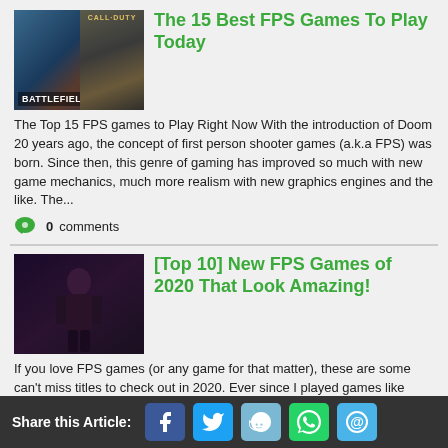The 15 Best FPS Games To Play Today
The Top 15 FPS games to Play Right Now With the introduction of Doom 20 years ago, the concept of first person shooter games (a.k.a FPS) was born. Since then, this genre of gaming has improved so much with new game mechanics, much more realism with new graphics engines and the like. The...
0 comments
[Top 10] New FPS Games of 2020 That Look Amazing!
If you love FPS games (or any game for that matter), these are some can't miss titles to check out in 2020. Ever since I played games like DOOM and Halo as a kid, first-person shooters have become one of my favorite types of games. More than just shooters, these games have evolved to...
0 comments
Share this Article: